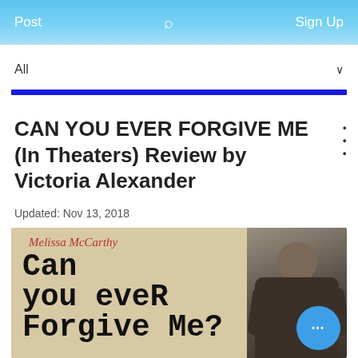Post   Sign Up
All
CAN YOU EVER FORGIVE ME (In Theaters) Review by Victoria Alexander
Updated: Nov 13, 2018
[Figure (photo): Movie poster for 'Can You Ever Forgive Me?' featuring Melissa McCarthy's name at top in red italic script, the film title in typewriter-style bold black font, and a person standing on the right side of the poster against a beige background, with a blue chat bubble overlay in the bottom right corner.]